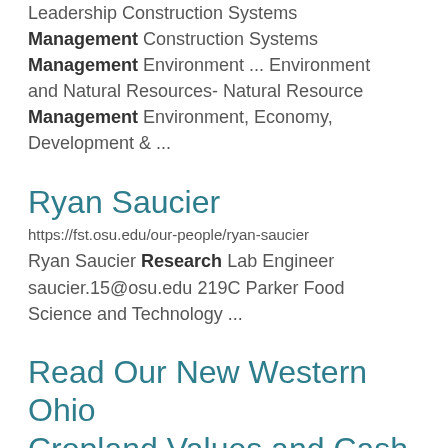Leadership Construction Systems Management Construction Systems Management Environment ... Environment and Natural Resources- Natural Resource Management Environment, Economy, Development & ...
Ryan Saucier
https://fst.osu.edu/our-people/ryan-saucier
Ryan Saucier Research Lab Engineer saucier.15@osu.edu 219C Parker Food Science and Technology ...
Read Our New Western Ohio Cropland Values and Cash Rents